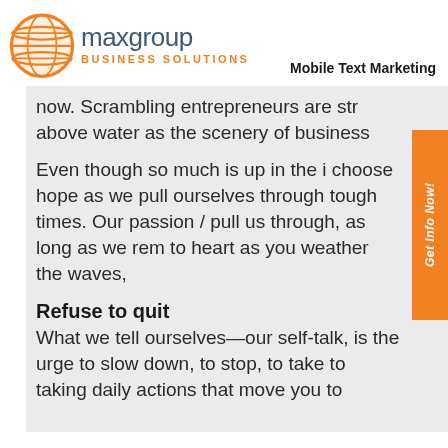[Figure (logo): Maxgroup Business Solutions logo with orange globe graphic and two-tone text]
Mobile Text Marketing
now. Scrambling entrepreneurs are str above water as the scenery of busi
Even though so much is up in the i choose hope as we pull ourselves through tough times. Our passion / pull us through, as long as we rem to heart as you weather the waves,
Refuse to quit
What we tell ourselves—our self-talk, is the urge to slow down, to stop, to take to taking daily actions that move you to